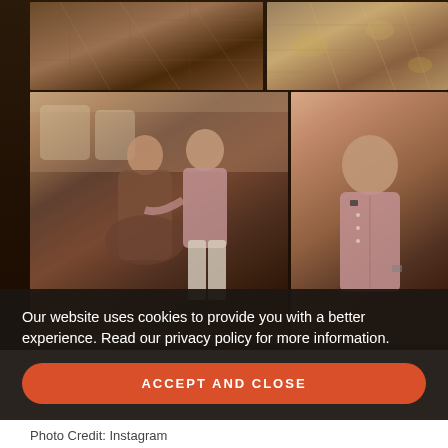[Figure (photo): Collage of wedding/engagement photos. Top row: two close-up photos of ornate traditional Indian clothing/fabric. Bottom row: couple sitting together on a sofa (woman in traditional bridal attire, man in pink kurta) on the left, and a portrait of the man alone in pink kurta on the right. Watermark 'highheelconfidential.com' repeated across bottom of photos.]
Our website uses cookies to provide you with a better experience. Read our privacy policy for more information.
ACCEPT AND CLOSE
Photo Credit: Instagram